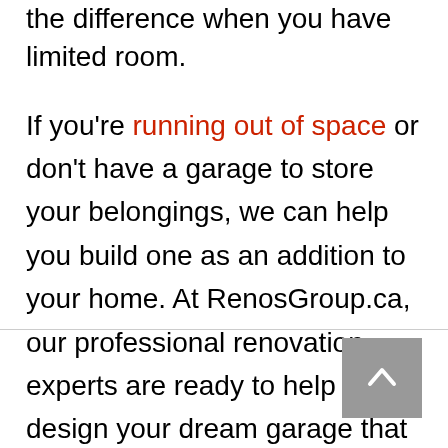the difference when you have limited room.
If you're running out of space or don't have a garage to store your belongings, we can help you build one as an addition to your home. At RenosGroup.ca, our professional renovation experts are ready to help you design your dream garage that will provide you with ample storage. To find out more about our services, contact us, or give us a call at (613)727-9427